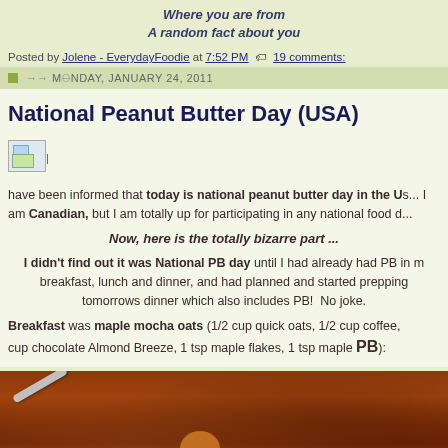Where you are from
A random fact about you
Posted by Jolene - EverydayFoodie at 7:52 PM  19 comments:
MONDAY, JANUARY 24, 2011
National Peanut Butter Day (USA)
[Figure (photo): Broken image placeholder icon]
have been informed that today is national peanut butter day in the US... am Canadian, but I am totally up for participating in any national food d...
Now, here is the totally bizarre part ...
I didn't find out it was National PB day until I had already had PB in my breakfast, lunch and dinner, and had planned and started prepping tomorrows dinner which also includes PB!  No joke.
Breakfast was maple mocha oats (1/2 cup quick oats, 1/2 cup coffee, cup chocolate Almond Breeze, 1 tsp maple flakes, 1 tsp maple PB):
[Figure (photo): Close-up photo of maple mocha oats in a bowl with a spoon, showing brownish oatmeal texture]